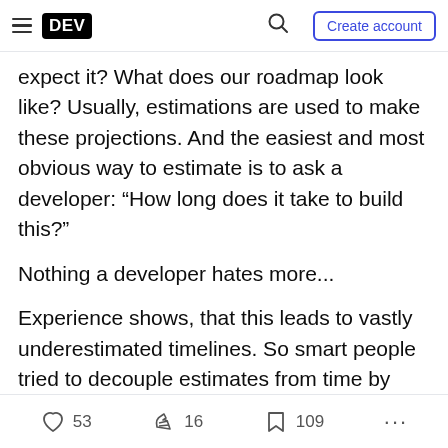DEV | Search | Create account
expect it? What does our roadmap look like? Usually, estimations are used to make these projections. And the easiest and most obvious way to estimate is to ask a developer: “How long does it take to build this?”
Nothing a developer hates more...
Experience shows, that this leads to vastly underestimated timelines. So smart people tried to decouple estimates from time by assigning complexity points to stories. Developers basically say: “This task sounds complicated. I give it an 8.” or
53  16  109  ...